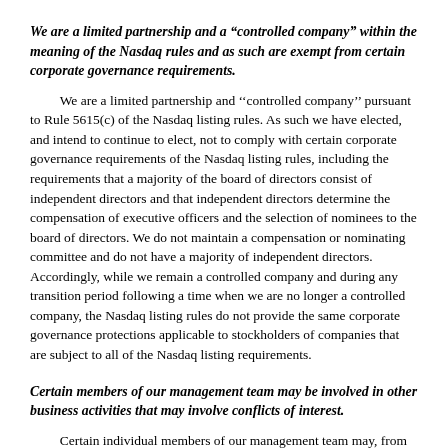We are a limited partnership and a "controlled company" within the meaning of the Nasdaq rules and as such are exempt from certain corporate governance requirements.
We are a limited partnership and ''controlled company'' pursuant to Rule 5615(c) of the Nasdaq listing rules. As such we have elected, and intend to continue to elect, not to comply with certain corporate governance requirements of the Nasdaq listing rules, including the requirements that a majority of the board of directors consist of independent directors and that independent directors determine the compensation of executive officers and the selection of nominees to the board of directors. We do not maintain a compensation or nominating committee and do not have a majority of independent directors. Accordingly, while we remain a controlled company and during any transition period following a time when we are no longer a controlled company, the Nasdaq listing rules do not provide the same corporate governance protections applicable to stockholders of companies that are subject to all of the Nasdaq listing requirements.
Certain members of our management team may be involved in other business activities that may involve conflicts of interest.
Certain individual members of our management team may, from time to time, be involved in the management of other businesses, including those owned or controlled by Mr. Icahn